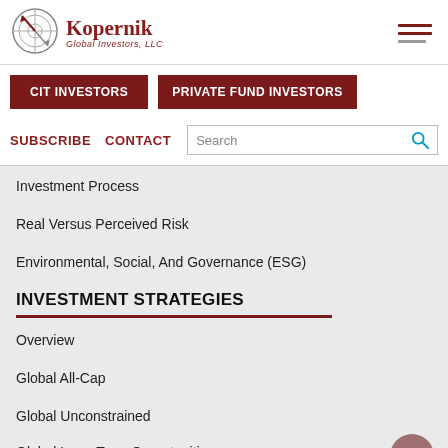[Figure (logo): Kopernik Global Investors, LLC logo with compass/globe icon]
Kopernik Global Investors, LLC
CIT INVESTORS
PRIVATE FUND INVESTORS
SUBSCRIBE
CONTACT
Investment Process
Real Versus Perceived Risk
Environmental, Social, And Governance (ESG)
INVESTMENT STRATEGIES
Overview
Global All-Cap
Global Unconstrained
Global Long-Term Opportunities